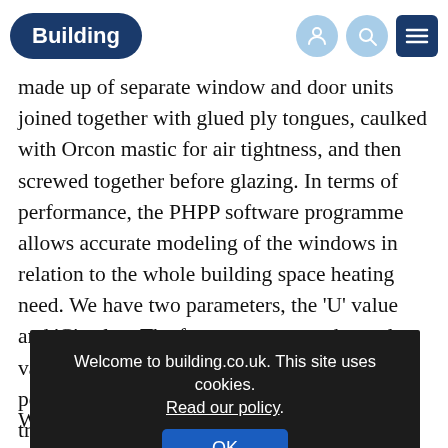Building
made up of separate window and door units joined together with glued ply tongues, caulked with Orcon mastic for air tightness, and then screwed together before glazing. In terms of performance, the PHPP software programme allows accurate modeling of the windows in relation to the whole building space heating need. We have two parameters, the 'U' value and 'G' value. The former measures thermal value and the latter solar gain ie. the performance of the type of glazing used in the tr... ch... a hi... po... co...
[Figure (screenshot): Cookie consent modal overlay on building.co.uk with dark background. Text reads: 'Welcome to building.co.uk. This site uses cookies. Read our policy.' with an OK button.]
We calculate this shouldn't happen!